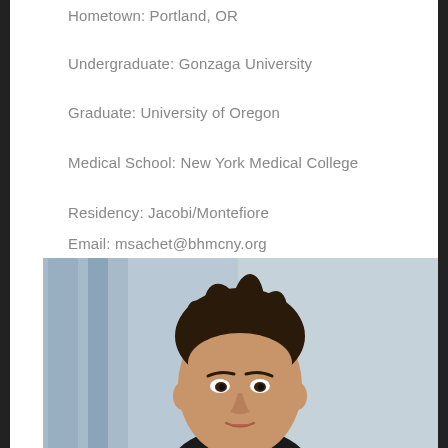Hometown: Portland, OR
Undergraduate: Gonzaga University
Graduate: University of Oregon
Medical School: New York Medical College
Residency: Jacobi/Montefiore
Email: msachet@bhmcny.org
[Figure (photo): Headshot of a young man with dark spiky hair, smiling slightly, against a blurred blue-grey background.]